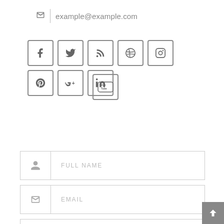example@example.com
[Figure (infographic): Row of social media icon boxes: Facebook, Twitter, RSS, Dribbble, Instagram, Pinterest, Google+, LinkedIn, YouTube]
[Figure (infographic): Contact form with Full Name, Email, and Short Message fields, each with an icon on the left side]
[Figure (infographic): Back to top button with upward chevron arrow, dark grey square, bottom-right corner]